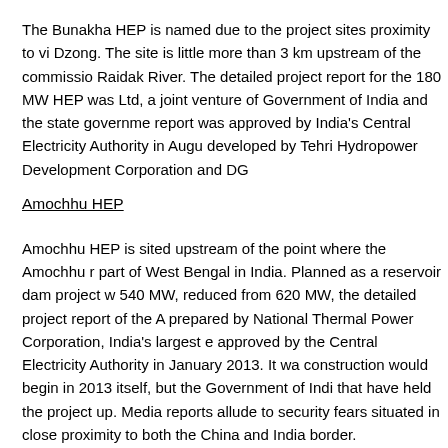The Bunakha HEP is named due to the project sites proximity to vi Dzong. The site is little more than 3 km upstream of the commissio Raidak River. The detailed project report for the 180 MW HEP was Ltd, a joint venture of Government of India and the state governme report was approved by India's Central Electricity Authority in Augu developed by Tehri Hydropower Development Corporation and DG
Amochhu HEP
Amochhu HEP is sited upstream of the point where the Amochhu r part of West Bengal in India. Planned as a reservoir dam project w 540 MW, reduced from 620 MW, the detailed project report of the A prepared by National Thermal Power Corporation, India's largest e approved by the Central Electricity Authority in January 2013. It wa construction would begin in 2013 itself, but the Government of Indi that have held the project up. Media reports allude to security fears situated in close proximity to both the China and India border.
“Although still unclear when the 540MW Amochhu hydropower pro project is still valid and has not been chalked out of the governmen website. The economic affairs minister has declared on the floor of